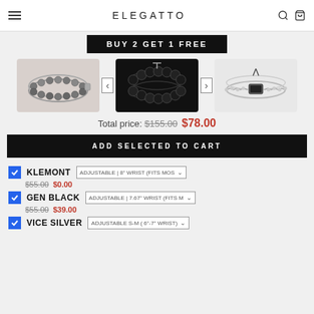ELEGATTO
BUY 2 GET 1 FREE
[Figure (photo): Three bracelets displayed side by side: a silver/brown beaded bracelet, a double-layer black onyx bead bracelet, and a silver chain bracelet with black diamond charm.]
Total price: $155.00 $78.00
ADD SELECTED TO CART
KLEMONT ADJUSTABLE | 8" WRIST (FITS MOS... $55.00 $0.00
GEN BLACK ADJUSTABLE | 7.67" WRIST (FITS M... $55.00 $39.00
VICE SILVER ADJUSTABLE S-M ( 6"-7" WRIST)